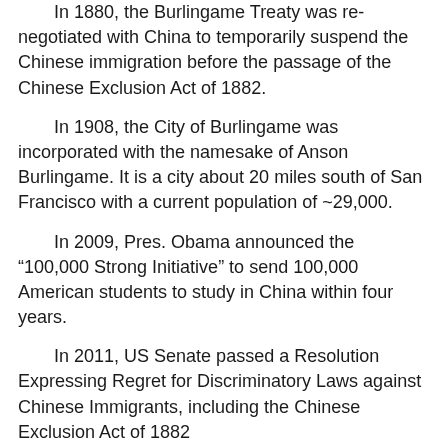In 1880, the Burlingame Treaty was re-negotiated with China to temporarily suspend the Chinese immigration before the passage of the Chinese Exclusion Act of 1882.
In 1908, the City of Burlingame was incorporated with the namesake of Anson Burlingame. It is a city about 20 miles south of San Francisco with a current population of ~29,000.
In 2009, Pres. Obama announced the “100,000 Strong Initiative” to send 100,000 American students to study in China within four years.
In 2011, US Senate passed a Resolution Expressing Regret for Discriminatory Laws against Chinese Immigrants, including the Chinese Exclusion Act of 1882
In 2012, US Congress unanimously passed a Resolution of Regret for Chinese Exclusion Act of 1882 and other discriminatory laws.
How to honor him?